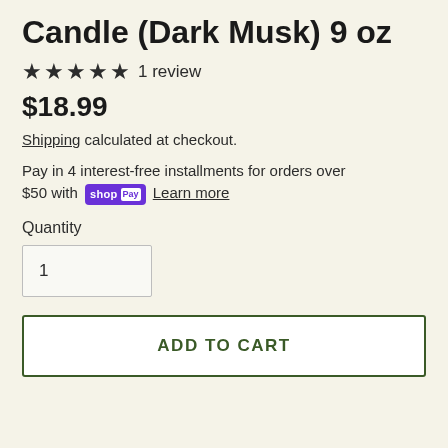Candle (Dark Musk) 9 oz
★★★★★ 1 review
$18.99
Shipping calculated at checkout.
Pay in 4 interest-free installments for orders over $50 with shopPay  Learn more
Quantity
1
ADD TO CART